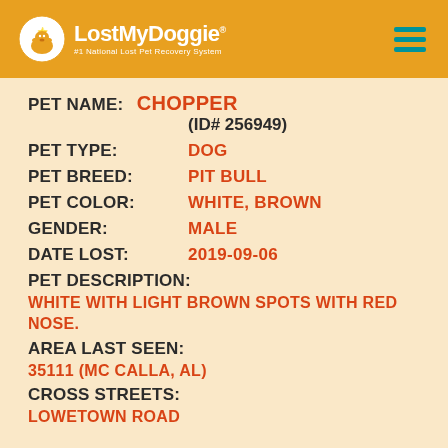LostMyDoggie #1 National Lost Pet Recovery System
PET NAME: CHOPPER (ID# 256949)
PET TYPE: DOG
PET BREED: PIT BULL
PET COLOR: WHITE, BROWN
GENDER: MALE
DATE LOST: 2019-09-06
PET DESCRIPTION: WHITE WITH LIGHT BROWN SPOTS WITH RED NOSE.
AREA LAST SEEN: 35111 (MC CALLA, AL)
CROSS STREETS: LOWETOWN ROAD